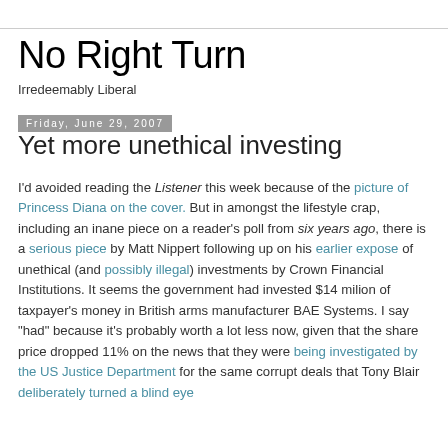No Right Turn
Irredeemably Liberal
Friday, June 29, 2007
Yet more unethical investing
I'd avoided reading the Listener this week because of the picture of Princess Diana on the cover. But in amongst the lifestyle crap, including an inane piece on a reader's poll from six years ago, there is a serious piece by Matt Nippert following up on his earlier expose of unethical (and possibly illegal) investments by Crown Financial Institutions. It seems the government had invested $14 milion of taxpayer's money in British arms manufacturer BAE Systems. I say "had" because it's probably worth a lot less now, given that the share price dropped 11% on the news that they were being investigated by the US Justice Department for the same corrupt deals that Tony Blair deliberately turned a blind eye